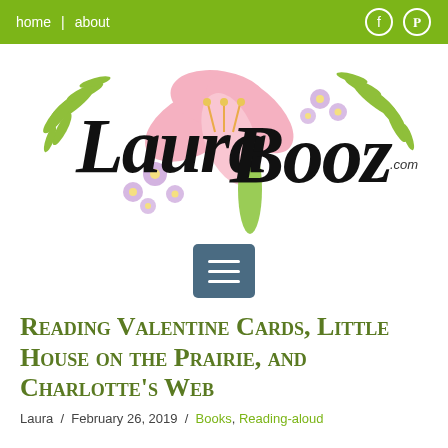home | about
[Figure (logo): Laura Booz .com logo with pink lilies, purple flowers, and green fern leaves in watercolor style, with cursive black lettering]
[Figure (other): Dark teal/slate blue hamburger menu button icon with three horizontal white lines]
Reading Valentine Cards, Little House on the Prairie, and Charlotte's Web
Laura / February 26, 2019 / Books, Reading-aloud